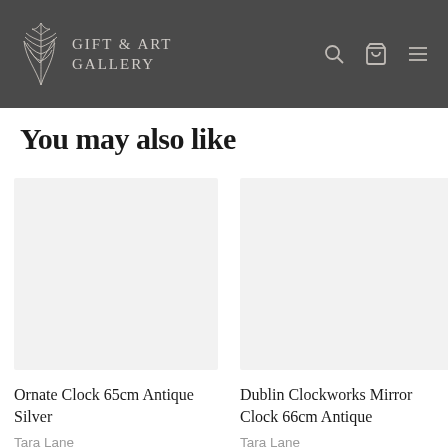Gift & Art Gallery
You may also like
[Figure (photo): Blank product image placeholder for Ornate Clock 65cm Antique Silver]
Ornate Clock 65cm Antique Silver
Tara Lane
[Figure (photo): Blank product image placeholder for Dublin Clockworks Mirror Clock 66cm Antique]
Dublin Clockworks Mirror Clock 66cm Antique
Tara Lane